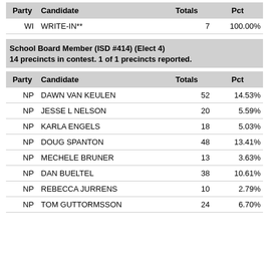| Party | Candidate | Totals | Pct |
| --- | --- | --- | --- |
| WI | WRITE-IN** | 7 | 100.00% |
School Board Member (ISD #414) (Elect 4)
14 precincts in contest. 1 of 1 precincts reported.
| Party | Candidate | Totals | Pct |
| --- | --- | --- | --- |
| NP | DAWN VAN KEULEN | 52 | 14.53% |
| NP | JESSE L NELSON | 20 | 5.59% |
| NP | KARLA ENGELS | 18 | 5.03% |
| NP | DOUG SPANTON | 48 | 13.41% |
| NP | MECHELE BRUNER | 13 | 3.63% |
| NP | DAN BUELTEL | 38 | 10.61% |
| NP | REBECCA JURRENS | 10 | 2.79% |
| NP | TOM GUTTORMSSON | 24 | 6.70% |